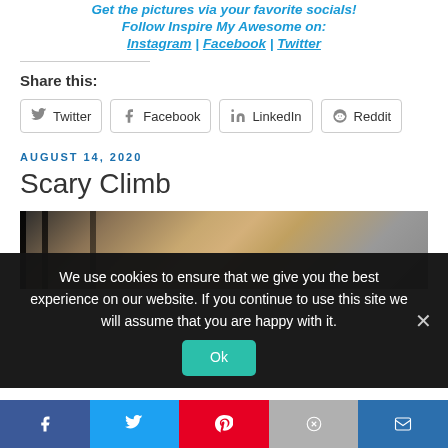Get the pictures via your favorite socials!
Follow Inspire My Awesome on:
Instagram | Facebook | Twitter
Share this:
Twitter  Facebook  LinkedIn  Reddit
AUGUST 14, 2020
Scary Climb
[Figure (photo): A photo showing a view looking up through metal bars/ladder with brick wall visible, suggesting a scary or dramatic climb upward.]
We use cookies to ensure that we give you the best experience on our website. If you continue to use this site we will assume that you are happy with it.
Ok